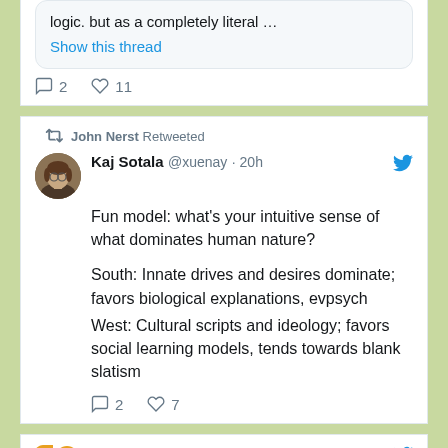logic. but as a completely literal …
Show this thread
2  11
John Nerst Retweeted
Kaj Sotala @xuenay · 20h
Fun model: what's your intuitive sense of what dominates human nature?

South: Innate drives and desires dominate; favors biological explanations, evpsych
West: Cultural scripts and ideology; favors social learning models, tends towards blank slatism
2  7
John N... @everystu... · Aug 18
I smell automation